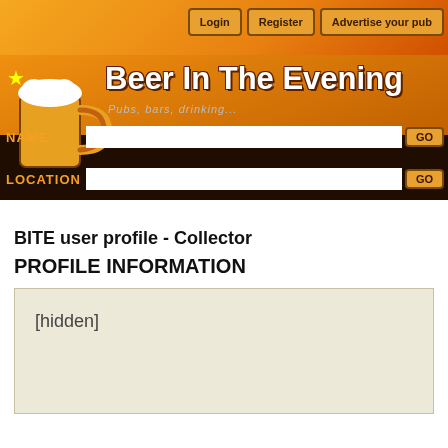[Figure (screenshot): Beer In The Evening website header with orange gradient background, dark brown banner with beer mug logo, site title 'Beer In The Evening', subtitle 'Pubs, bars, drinking...', navigation buttons (Login, Register, Advertise your pub), and search fields for NAME and LOCATION with GO buttons]
BITE user profile - Collector
PROFILE INFORMATION
[hidden]